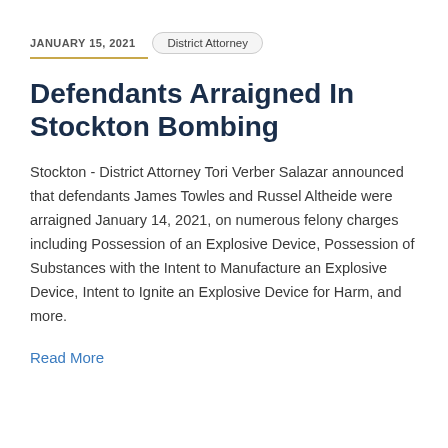JANUARY 15, 2021
District Attorney
Defendants Arraigned In Stockton Bombing
Stockton - District Attorney Tori Verber Salazar announced that defendants James Towles and Russel Altheide were arraigned January 14, 2021, on numerous felony charges including Possession of an Explosive Device, Possession of Substances with the Intent to Manufacture an Explosive Device, Intent to Ignite an Explosive Device for Harm, and more.
Read More